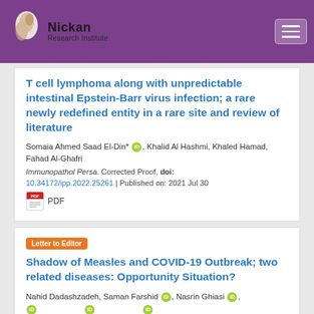Nickon Research Institute
T cell lymphoma along with unpredictable intestinal Epstein-Barr virus infection; a rare newly redefined entity in a rare site and review of literature
Somaia Ahmed Saad El-Din*, Khalid Al Hashmi, Khaled Hamad, Fahad Al-Ghafri
Immunopathol Persa. Corrected Proof, doi: 10.34172/ipp.2022.25261 | Published on: 2021 Jul 30
PDF
Letter to Editor
Shadow of Measles and COVID-19 Outbreak; two related diseases: Opportunity Situation?
Nahid Dadashzadeh, Saman Farshid, Nasrin Ghiasi,